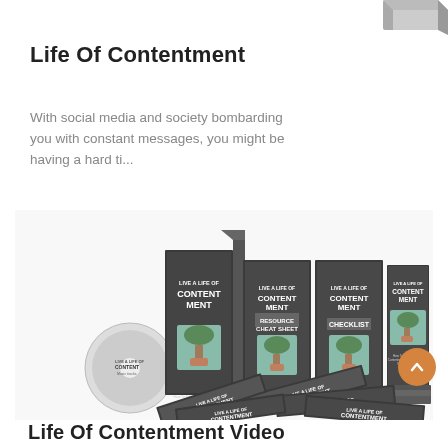[Figure (illustration): Partial view of a box or product mockup in the top-right corner]
Life Of Contentment
With social media and society bombarding you with constant messages, you might be having a hard ti...
[Figure (photo): Product bundle mockup showing multiple book covers, DVDs, and printed materials all labeled 'Live A Life Of Contentment', including a Resource Cheat Sheet, Checklist, and other items]
Life Of Contentment Video